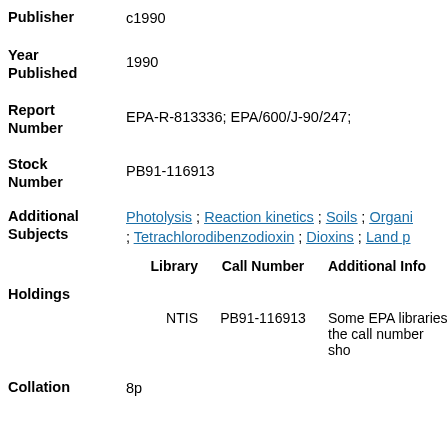Publisher c1990
Year Published: 1990
Report Number: EPA-R-813336; EPA/600/J-90/247;
Stock Number: PB91-116913
Additional Subjects: Photolysis ; Reaction kinetics ; Soils ; Organi... ; Tetrachlorodibenzodioxin ; Dioxins ; Land p...
| Library | Call Number | Additional Info |
| --- | --- | --- |
| NTIS | PB91-116913 | Some EPA libraries the call number sho... |
Holdings
Collation 8p